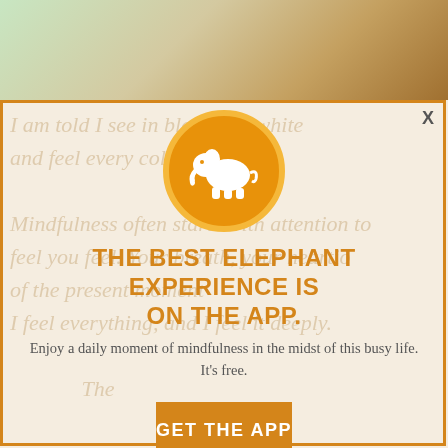[Figure (screenshot): App promotion modal overlay on a webpage. Top portion shows a nature/animal background image. The modal contains an orange elephant logo circle, headline text, description, and two call-to-action buttons.]
X
THE BEST ELEPHANT EXPERIENCE IS ON THE APP.
Enjoy a daily moment of mindfulness in the midst of this busy life. It's free.
GET THE APP
OPEN IN APP